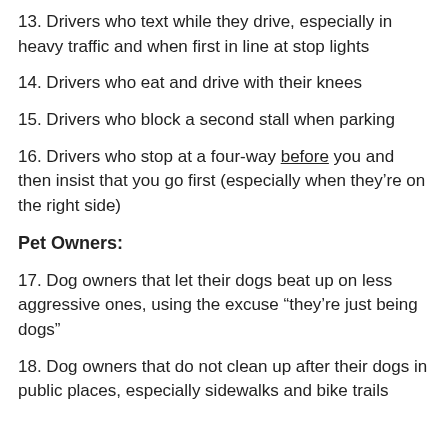13. Drivers who text while they drive, especially in heavy traffic and when first in line at stop lights
14. Drivers who eat and drive with their knees
15. Drivers who block a second stall when parking
16. Drivers who stop at a four-way before you and then insist that you go first (especially when they're on the right side)
Pet Owners:
17. Dog owners that let their dogs beat up on less aggressive ones, using the excuse “they’re just being dogs”
18. Dog owners that do not clean up after their dogs in public places, especially sidewalks and bike trails